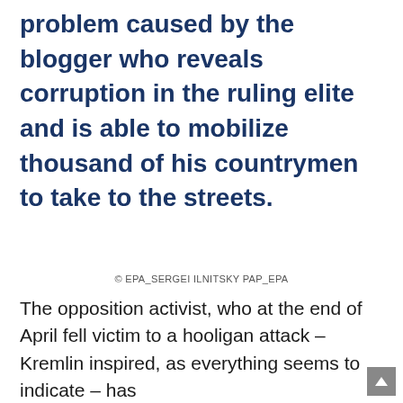problem caused by the blogger who reveals corruption in the ruling elite and is able to mobilize thousand of his countrymen to take to the streets.
© EPA_SERGEI ILNITSKY PAP_EPA
The opposition activist, who at the end of April fell victim to a hooligan attack – Kremlin inspired, as everything seems to indicate – has